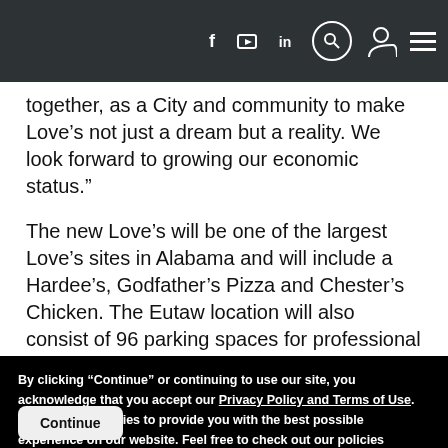Navigation bar with social icons (f, twitter, in, search, user, menu)
together, as a City and community to make Love’s not just a dream but a reality. We look forward to growing our economic status."
The new Love’s will be one of the largest Love’s sites in Alabama and will include a Hardee’s, Godfather’s Pizza and Chester’s Chicken. The Eutaw location will also consist of 96 parking spaces for professional drivers, with the possibility of future expansion for more parking spaces.
By clicking "Continue" or continuing to use our site, you acknowledge that you accept our Privacy Policy and Terms of Use. We also use cookies to provide you with the best possible experience on our website. Feel free to check out our policies anytime for more information.
Continue